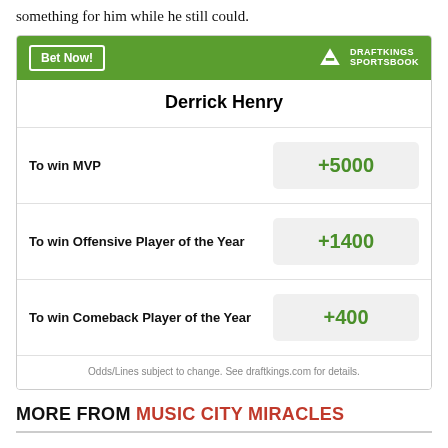something for him while he still could.
| Derrick Henry |  |
| --- | --- |
| To win MVP | +5000 |
| To win Offensive Player of the Year | +1400 |
| To win Comeback Player of the Year | +400 |
Odds/Lines subject to change. See draftkings.com for details.
MORE FROM MUSIC CITY MIRACLES
Titans place K Caleb Shudak on Reserve/PUP List